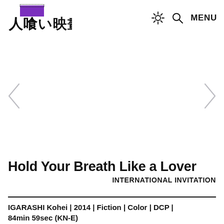人喰い映畫祭。 (logo) ☀ 🔍 MENU
[Figure (other): Empty carousel/slideshow area with left and right navigation arrows on a white background]
Hold Your Breath Like a Lover
INTERNATIONAL INVITATION
IGARASHI Kohei | 2014 | Fiction | Color | DCP | 84min 59sec (KN-E)